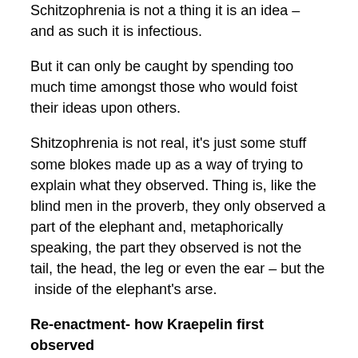Schitzophrenia is not a thing it is an idea – and as such it is infectious.
But it can only be caught by spending too much time amongst those who would foist their ideas upon others.
Shitzophrenia is not real, it's just some stuff some blokes made up as a way of trying to explain what they observed. Thing is, like the blind men in the proverb, they only observed a part of the elephant and, metaphorically speaking, the part they observed is not the tail, the head, the leg or even the ear – but the  inside of the elephant's arse.
Re-enactment- how Kraepelin first observed “schizophrenia”
Well, if you had your head covered in elephant poop you’d call it “shitzophrenia” too.